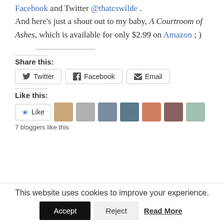Facebook and Twitter @thatcswilde . And here's just a shout out to my baby, A Courtroom of Ashes, which is available for only $2.99 on Amazon ; )
Share this:
Twitter | Facebook | Email
Like this:
Like | [avatars] | 7 bloggers like this
This website uses cookies to improve your experience. Accept | Reject | Read More